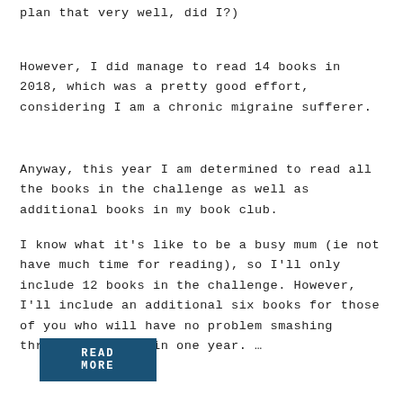plan that very well, did I?)
However, I did manage to read 14 books in 2018, which was a pretty good effort, considering I am a chronic migraine sufferer.
Anyway, this year I am determined to read all the books in the challenge as well as additional books in my book club.
I know what it's like to be a busy mum (ie not have much time for reading), so I'll only include 12 books in the challenge. However, I'll include an additional six books for those of you who will have no problem smashing through 12 books in one year. …
READ MORE